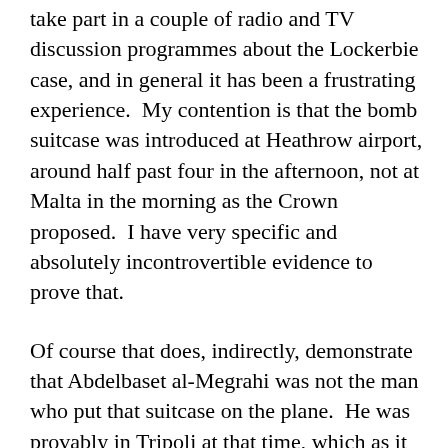take part in a couple of radio and TV discussion programmes about the Lockerbie case, and in general it has been a frustrating experience.  My contention is that the bomb suitcase was introduced at Heathrow airport, around half past four in the afternoon, not at Malta in the morning as the Crown proposed.  I have very specific and absolutely incontrovertible evidence to prove that.
Of course that does, indirectly, demonstrate that Abdelbaset al-Megrahi was not the man who put that suitcase on the plane.  He was provably in Tripoli at that time, which as it happens is well over a thousand miles from Heathrow airport.  What it does not do is give me some unique insight into who did plant the bomb.  And yet, that's all the interviewers seem to want